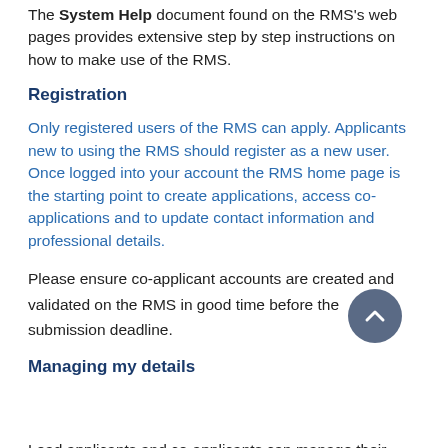The System Help document found on the RMS's web pages provides extensive step by step instructions on how to make use of the RMS.
Registration
Only registered users of the RMS can apply. Applicants new to using the RMS should register as a new user. Once logged into your account the RMS home page is the starting point to create applications, access co-applications and to update contact information and professional details.
Please ensure co-applicant accounts are created and validated on the RMS in good time before the submission deadline.
Managing my details
Lead applicants and co-applicants can manage their